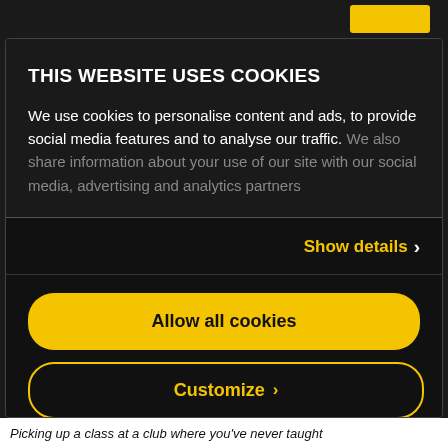THIS WEBSITE USES COOKIES
We use cookies to personalise content and ads, to provide social media features and to analyse our traffic. We also share information about your use of our site with our social media, advertising and analytics partners
Show details ›
Allow all cookies
Customize ›
Powered by Cookiebot by Usercentrics
Picking up a class at a club where you've never taught